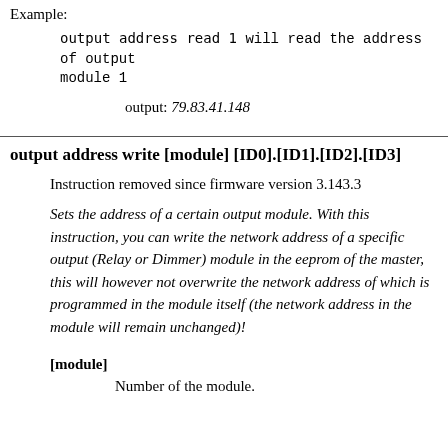Example:
output address read 1 will read the address of output module 1
output: 79.83.41.148
output address write [module] [ID0].[ID1].[ID2].[ID3]
Instruction removed since firmware version 3.143.3
Sets the address of a certain output module. With this instruction, you can write the network address of a specific output (Relay or Dimmer) module in the eeprom of the master, this will however not overwrite the network address of which is programmed in the module itself (the network address in the module will remain unchanged)!
[module]
Number of the module.